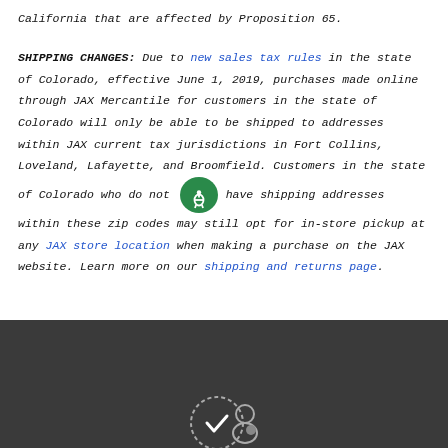California that are affected by Proposition 65.
SHIPPING CHANGES: Due to new sales tax rules in the state of Colorado, effective June 1, 2019, purchases made online through JAX Mercantile for customers in the state of Colorado will only be able to be shipped to addresses within JAX current tax jurisdictions in Fort Collins, Loveland, Lafayette, and Broomfield. Customers in the state of Colorado who do not have shipping addresses within these zip codes may still opt for in-store pickup at any JAX store location when making a purchase on the JAX website. Learn more on our shipping and returns page.
[Figure (other): Dark footer area with partial icons visible at the bottom]